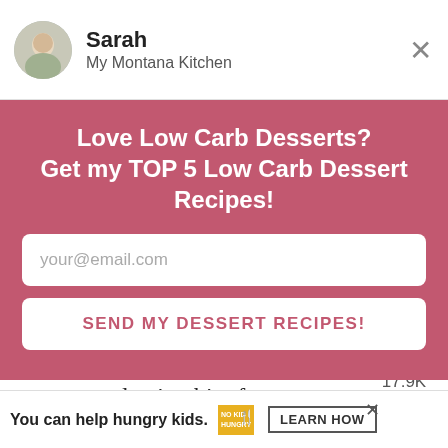Sarah
My Montana Kitchen
Love Low Carb Desserts?
Get my TOP 5 Low Carb Dessert Recipes!
your@email.com
SEND MY DESSERT RECIPES!
extract and a tiny bit of blackstrap molasses gives a great brown sugar sub that is perfect for baking!
17.9K
WHAT'S NEXT → Low Carb Biscuits (TH...
AND . . . it doesn't spike your blood
You can help hungry kids. NOKID HUNGRY LEARN HOW